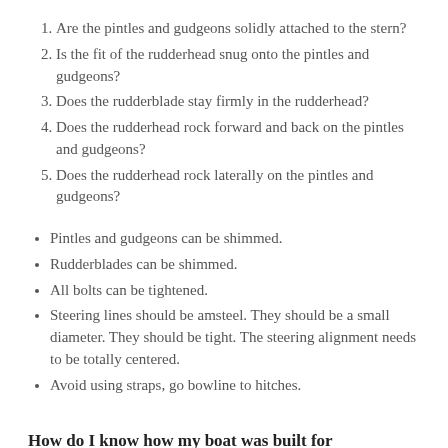Are the pintles and gudgeons solidly attached to the stern?
Is the fit of the rudderhead snug onto the pintles and gudgeons?
Does the rudderblade stay firmly in the rudderhead?
Does the rudderhead rock forward and back on the pintles and gudgeons?
Does the rudderhead rock laterally on the pintles and gudgeons?
Pintles and gudgeons can be shimmed.
Rudderblades can be shimmed.
All bolts can be tightened.
Steering lines should be amsteel. They should be a small diameter. They should be tight. The steering alignment needs to be totally centered.
Avoid using straps, go bowline to hitches.
How do I know how my boat was built for